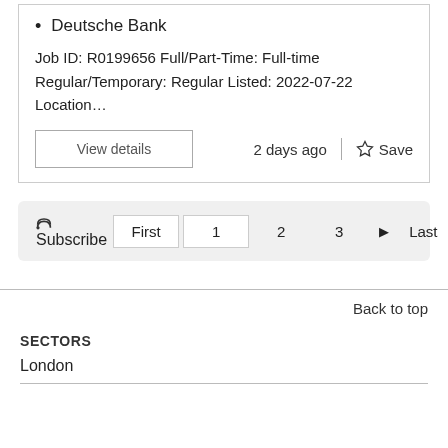Deutsche Bank
Job ID: R0199656 Full/Part-Time: Full-time Regular/Temporary: Regular Listed: 2022-07-22 Location…
View details    2 days ago  |  ☆ Save
Subscribe  First  1  2  3  ▶  Last
Back to top
SECTORS
London